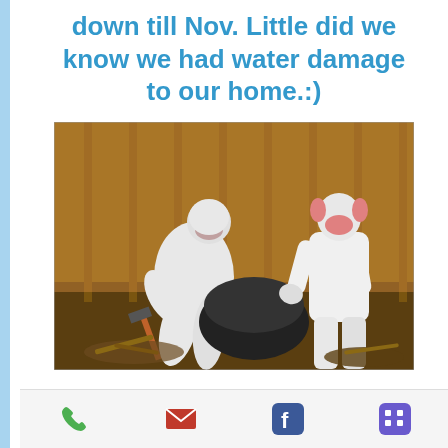down till Nov. Little did we know we had water damage to our home.:)
[Figure (photo): Two workers in white hazmat suits and respirator masks performing water damage remediation in a damaged home interior, removing debris and materials from a gutted room with exposed wooden framing.]
Our team of professionals pride themselves on providing
Phone | Email | Facebook | Menu icons